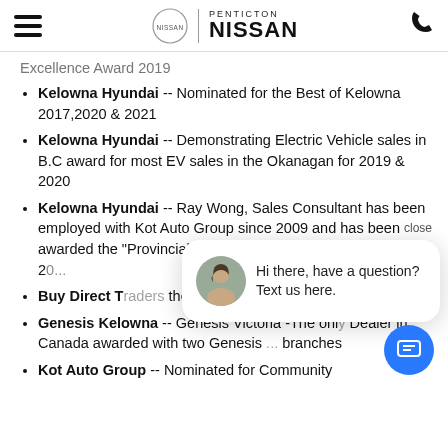Penticton Nissan
Excellence Award 2019
Kelowna Hyundai -- Nominated for the Best of Kelowna 2017,2020 & 2021
Kelowna Hyundai -- Demonstrating Electric Vehicle sales in B.C award for most EV sales in the Okanagan for 2019 & 2020
Kelowna Hyundai -- Ray Wong, Sales Consultant has been employed with Kot Auto Group since 2009 and has been awarded the "Provincial Customer Ex... Canada in 2...
Buy Direct T... the Best of K...
Genesis Kelowna -- Genesis Victoria -The only Dealer in Canada awarded with two Genesis branches
Kot Auto Group -- Nominated for Community